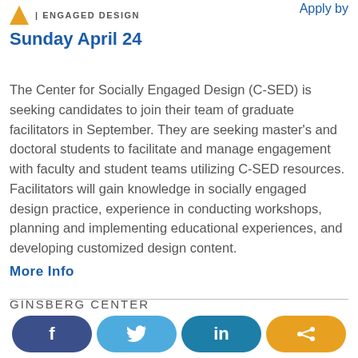ENGAGED DESIGN | Apply by
Sunday April 24
The Center for Socially Engaged Design (C-SED) is seeking candidates to join their team of graduate facilitators in September. They are seeking master’s and doctoral students to facilitate and manage engagement with faculty and student teams utilizing C-SED resources. Facilitators will gain knowledge in socially engaged design practice, experience in conducting workshops, planning and implementing educational experiences, and developing customized design content.
More Info
GINSBERG CENTER